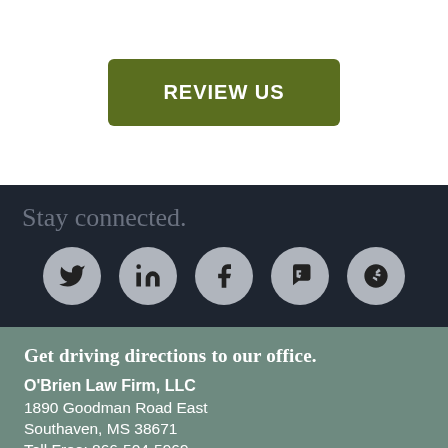REVIEW US
Stay connected.
[Figure (infographic): Social media icons: Twitter, LinkedIn, Facebook, Foursquare, Yelp in dark circular buttons]
Get driving directions to our office.
O'Brien Law Firm, LLC
1890 Goodman Road East
Southaven, MS 38671
Toll Free: 866-504-5969
Phone: 662-655-1012